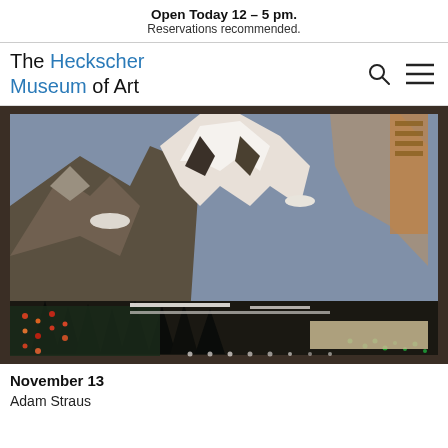Open Today 12 – 5 pm. Reservations recommended.
The Heckscher Museum of Art
[Figure (photo): A framed mixed-media artwork depicting a dramatic mountain landscape (Yosemite-like peaks with snow) combined with abstract colorful dot patterns in the lower portion, displayed in a dark wooden frame.]
November 13
Adam Straus